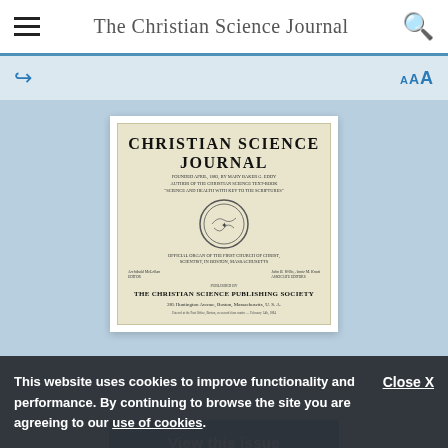The Christian Science Journal
[Figure (illustration): Cover of the Christian Science Journal, showing the title 'Christian Science Journal' in bold serif type, a circular seal/emblem in the center, and publication details including 'The Christian Science Publishing Society, 285 Huntington Avenue, Boston, Massachusetts, U.S.A.']
View this issue
This website uses cookies to improve functionality and performance. By continuing to browse the site you are agreeing to our use of cookies.